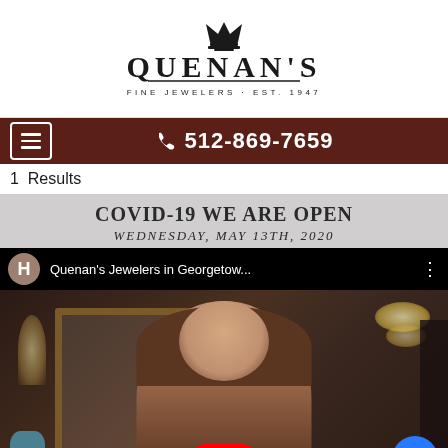[Figure (logo): Quenan's Fine Jewelers logo with crown icon, brand name QUENAN'S in large serif font, and tagline FINE JEWELERS · EST. 1947]
☎ 512-869-7659
1  Results
COVID-19 WE ARE OPEN
WEDNESDAY, MAY 13TH, 2020
[Figure (screenshot): YouTube video embed showing Quenan's Jewelers in Georgetow... with a woman speaking in a jewelry store interior. Red YouTube play button visible at bottom center. Blue chat bubble button at bottom right.]